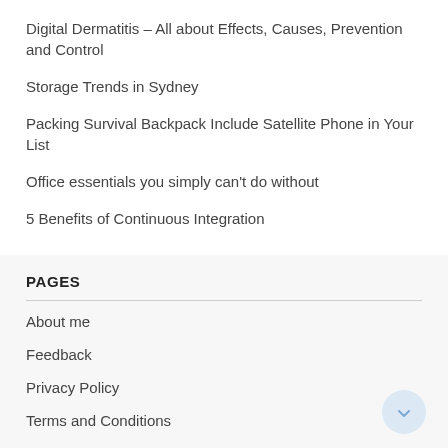Digital Dermatitis – All about Effects, Causes, Prevention and Control
Storage Trends in Sydney
Packing Survival Backpack Include Satellite Phone in Your List
Office essentials you simply can't do without
5 Benefits of Continuous Integration
PAGES
About me
Feedback
Privacy Policy
Terms and Conditions